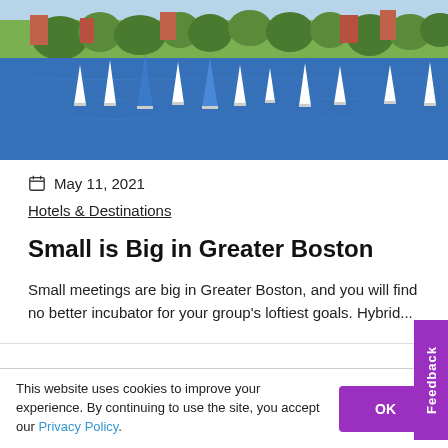[Figure (photo): Sailboats on a river with green trees and brick buildings in the background, Boston area waterfront]
May 11, 2021
Hotels & Destinations
Small is Big in Greater Boston
Small meetings are big in Greater Boston, and you will find no better incubator for your group's loftiest goals. Hybrid...
[Figure (photo): Smart Meetings magazine cover thumbnail showing a woman with blonde hair]
Print Magazine
Print magazine
Digital Magazine
This website uses cookies to improve your experience. By continuing to use the site, you accept our Privacy Policy.